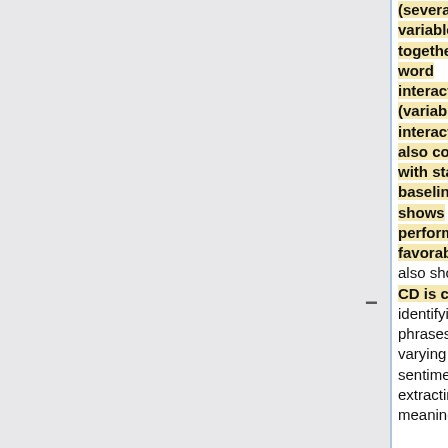(several variables together) and word interactions (variable interactions). It also compares the algorithm with state-of-the-art baselines and shows that it performs favorably. It also shows that CD is capable of identifying phrases of varying sentiment and extracting meaningful
this model could be extended for such purposes although the computational complexity would increase since we would be predicting multiple outputs in this case.